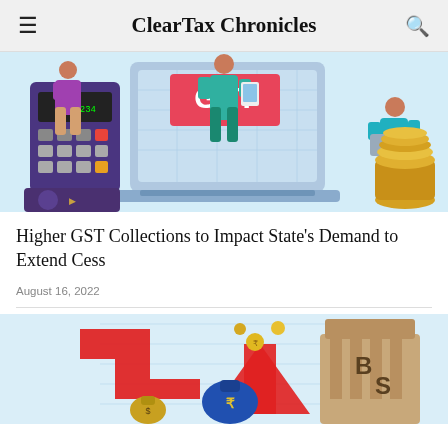ClearTax Chronicles
[Figure (illustration): GST themed illustration showing people using a laptop and calculator with coins, financial themed graphic]
Higher GST Collections to Impact State’s Demand to Extend Cess
August 16, 2022
[Figure (illustration): Finance/stock market themed illustration showing red arrows, money bags, coins, and BSE building]